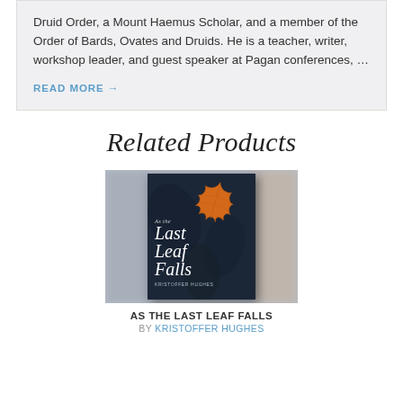Druid Order, a Mount Haemus Scholar, and a member of the Order of Bards, Ovates and Druids. He is a teacher, writer, workshop leader, and guest speaker at Pagan conferences, …
READ MORE →
Related Products
[Figure (photo): Book cover of 'As the Last Leaf Falls' by Kristoffer Hughes, showing a large orange/amber maple leaf against a dark blue background, with the title in white italic serif font.]
AS THE LAST LEAF FALLS
BY KRISTOFFER HUGHES